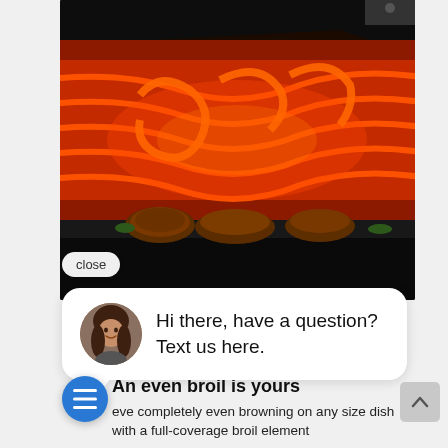[Figure (photo): Close-up photo of glowing orange/red broil heating elements in an oven with meat visible below]
close
[Figure (screenshot): Chat widget popup with avatar of a woman and text: Hi there, have a question? Text us here.]
An even broil is yours
eve completely even browning on any size dish with a full-coverage broil element